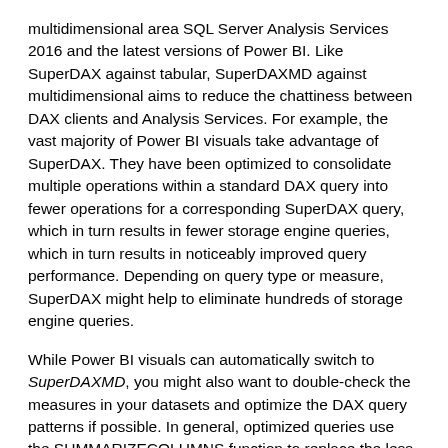multidimensional area SQL Server Analysis Services 2016 and the latest versions of Power BI. Like SuperDAX against tabular, SuperDAXMD against multidimensional aims to reduce the chattiness between DAX clients and Analysis Services. For example, the vast majority of Power BI visuals take advantage of SuperDAX. They have been optimized to consolidate multiple operations within a standard DAX query into fewer operations for a corresponding SuperDAX query, which in turn results in fewer storage engine queries, which in turn results in noticeably improved query performance. Depending on query type or measure, SuperDAX might help to eliminate hundreds of storage engine queries.
While Power BI visuals can automatically switch to SuperDAXMD, you might also want to double-check the measures in your datasets and optimize the DAX query patterns if possible. In general, optimized queries use the SUMMARIZECOLUMNS function to replace the less efficient standard DAX SUMMARIZE function, and right now DAX